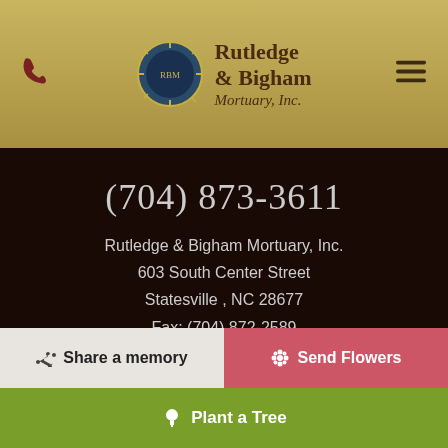[Figure (logo): Rutledge & Bigham Mortuary, Inc. logo with circular emblem and company name]
(704) 873-3611
Rutledge & Bigham Mortuary, Inc.
603 South Center Street
Statesville , NC 28677
Fax: (704) 872-2589
Email: rutledgeinc@bellsouth.net
[Figure (infographic): Three gold circular social media icons: Facebook, Twitter, Instagram]
Share a memory
Send Flowers
Plant a Tree